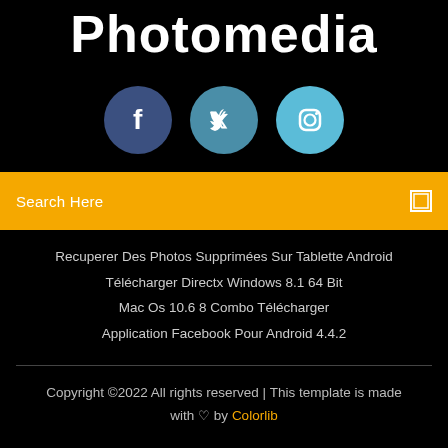Photomedia
[Figure (infographic): Three circular social media icons: Facebook (dark blue), Twitter (medium blue), Instagram (light blue), displayed horizontally centered]
Search Here
Recuperer Des Photos Supprimées Sur Tablette Android
Télécharger Directx Windows 8.1 64 Bit
Mac Os 10.6 8 Combo Télécharger
Application Facebook Pour Android 4.4.2
Copyright ©2022 All rights reserved | This template is made with ♡ by Colorlib